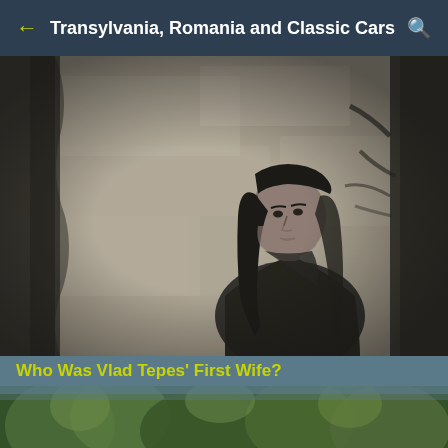Transylvania, Romania and Classic Cars
[Figure (photo): Black and white photograph of a young woman with long dark hair, looking over her shoulder, standing near a stone wall and tree in a moody, gothic atmosphere.]
Who Was Vlad Tepes' First Wife?
In previous posts, I've talked a lot about Vlad Tepes, or Count Dracula, and I've also touched upon his extended family. A topic I have been meaning to touch on is the first wife of Vlad Tepes, and I'd like to talk about how she has worked herself into the Dra ...
[Figure (photo): Partial view of a color photograph showing green foliage or garden scene at the bottom of the page.]